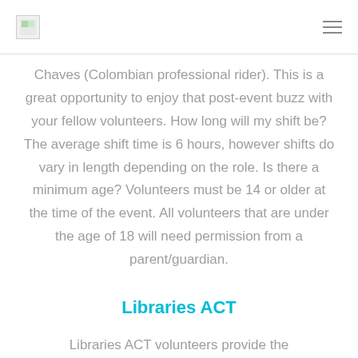[logo] [menu icon]
Chaves (Colombian professional rider). This is a great opportunity to enjoy that post-event buzz with your fellow volunteers. How long will my shift be? The average shift time is 6 hours, however shifts do vary in length depending on the role. Is there a minimum age? Volunteers must be 14 or older at the time of the event. All volunteers that are under the age of 18 will need permission from a parent/guardian.
Libraries ACT
Libraries ACT volunteers provide the